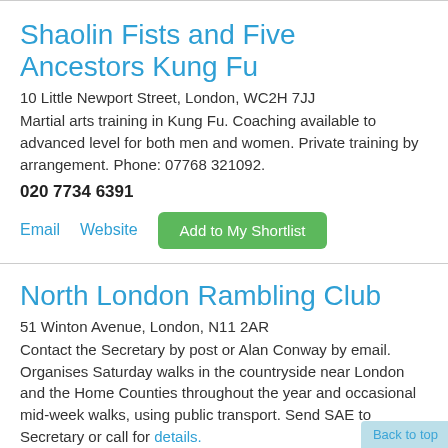Shaolin Fists and Five Ancestors Kung Fu
10 Little Newport Street, London, WC2H 7JJ
Martial arts training in Kung Fu. Coaching available to advanced level for both men and women. Private training by arrangement. Phone: 07768 321092.
020 7734 6391
Email   Website   Add to My Shortlist
North London Rambling Club
51 Winton Avenue, London, N11 2AR
Contact the Secretary by post or Alan Conway by email. Organises Saturday walks in the countryside near London and the Home Counties throughout the year and occasional mid-week walks, using public transport. Send SAE to Secretary or call for details.